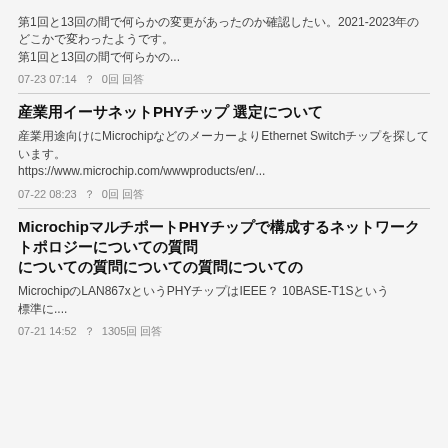第1回と13回の間で何らかの変更があったのか確認したい。2021-2023年のどこかで変わったようです。...
07-23 07:14  ？  0回 回答
産業用イーサネットPHYチップ 選定について
産業用途向けにMicrochipなどのメーカーよりEthernet Switchチップを探しています。https://www.microchip.com/wwwproducts/en/...
07-22 08:23  ？  0回 回答
MicrochipマルチポートPHYチップで構成するネットワークトポロジーについての質問
MicrochipのLAN867xというPHYチップはIEEE？ 10BASE-T1Sという標準に...
07-21 14:52  ？  1305回 回答